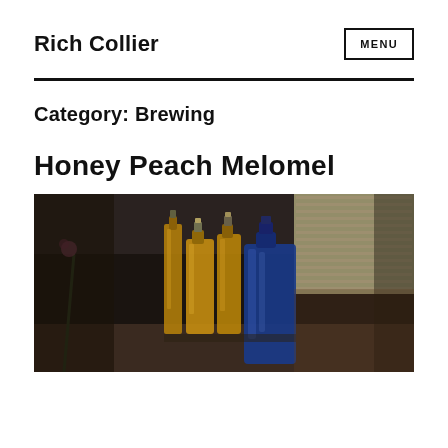Rich Collier
Category: Brewing
Honey Peach Melomel
[Figure (photo): Dark interior photo showing several glass bottles — amber/golden colored bottles and one large blue bottle — standing on a surface near a window with blinds in the background.]